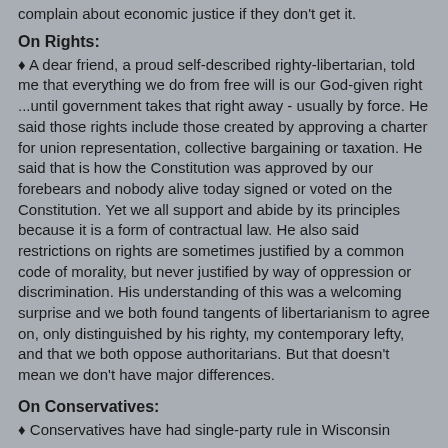complain about economic justice if they don't get it.
On Rights:
♦ A dear friend, a proud self-described righty-libertarian, told me that everything we do from free will is our God-given right ...until government takes that right away - usually by force. He said those rights include those created by approving a charter for union representation, collective bargaining or taxation. He said that is how the Constitution was approved by our forebears and nobody alive today signed or voted on the Constitution. Yet we all support and abide by its principles because it is a form of contractual law. He also said restrictions on rights are sometimes justified by a common code of morality, but never justified by way of oppression or discrimination. His understanding of this was a welcoming surprise and we both found tangents of libertarianism to agree on, only distinguished by his righty, my contemporary lefty, and that we both oppose authoritarians. But that doesn't mean we don't have major differences.
On Conservatives:
♦ Conservatives have had single-party rule in Wisconsin